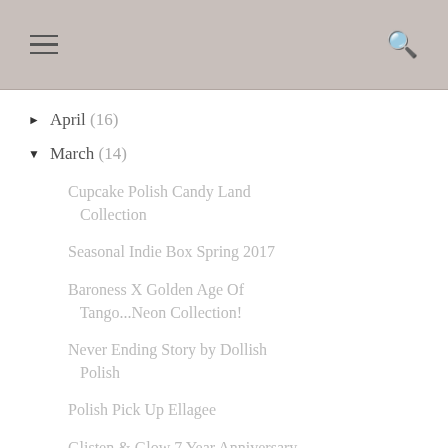≡  🔍
▶ April (16)
▼ March (14)
Cupcake Polish Candy Land Collection
Seasonal Indie Box Spring 2017
Baroness X Golden Age Of Tango...Neon Collection!
Never Ending Story by Dollish Polish
Polish Pick Up Ellagee
Glisten & Glow 7 Year Anniversary Duo